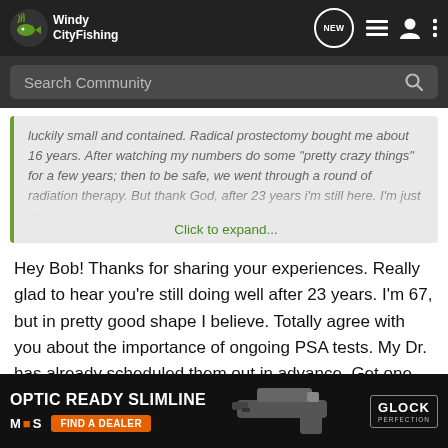Windy City Fishing — navigation bar with NEW, list, user, and more icons
Search Community
luckily small and contained. Radical prostectomy bought me about 16 years. After watching my numbers do some "pretty crazy things" for a few years; then to be safe, we went through a round of radiation therapy. But thank God, after 23 years i'm still here. I'm just giving
Click to expand...
Hey Bob! Thanks for sharing your experiences. Really glad to hear you're still doing well after 23 years. I'm 67, but in pretty good shape I believe. Totally agree with you about the importance of ongoing PSA tests. My Dr. has already scheduled them out in advance. Get one every 2-3 months for the first few years. My first one was last month and, thank God, there was no PSA detectable. But as you say, it can still creep up. It's too easy to think, "Well, I'm okay and everything is fine now!" And beyond about o again
[Figure (screenshot): Glock Optic Ready Slimline advertisement banner with MOS brand logo, Find a Dealer orange button, Glock pistol image, and Glock Perfection logo]